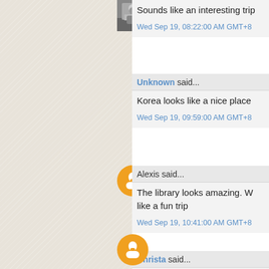Sounds like an interesting trip
Wed Sep 19, 08:22:00 AM GMT+8
Unknown said...
Korea looks like a nice place
Wed Sep 19, 09:59:00 AM GMT+8
Alexis said...
The library looks amazing. W... like a fun trip
Wed Sep 19, 10:41:00 AM GMT+8
Christa said...
That library looks like a dream Seoul, I'll definitely have to